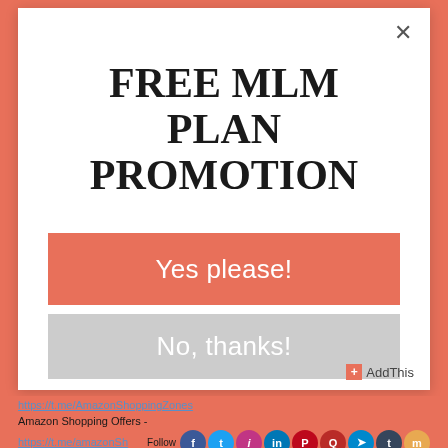FREE MLM PLAN PROMOTION
Yes please!
No, thanks!
AddThis
https://t.me/AmazonShoppingZones
Amazon Shopping Offers -
https://t.me/amazonShoppingOffers
Follow